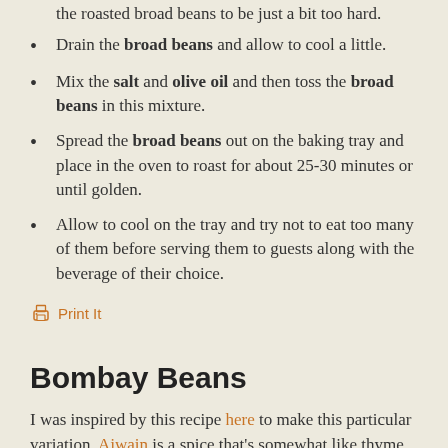the roasted broad beans to be just a bit too hard.
Drain the broad beans and allow to cool a little.
Mix the salt and olive oil and then toss the broad beans in this mixture.
Spread the broad beans out on the baking tray and place in the oven to roast for about 25-30 minutes or until golden.
Allow to cool on the tray and try not to eat too many of them before serving them to guests along with the beverage of their choice.
Print It
Bombay Beans
I was inspired by this recipe here to make this particular variation. Ajwain is a spice that’s somewhat like thyme but more pungent and with a real bite to it. It’s one of